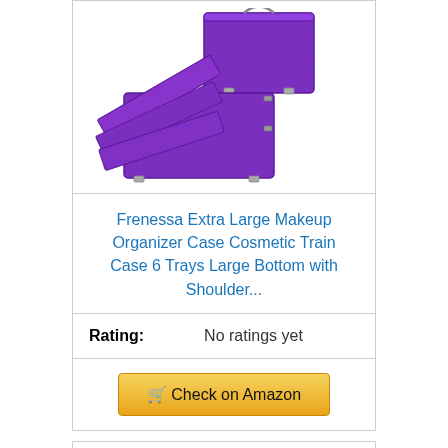[Figure (photo): Purple Frenessa Extra Large Makeup Organizer Case open showing multiple trays]
Frenessa Extra Large Makeup Organizer Case Cosmetic Train Case 6 Trays Large Bottom with Shoulder...
Rating: No ratings yet
Check on Amazon
Bestseller No. 3
[Figure (photo): Silver makeup train case partially visible at bottom of page]